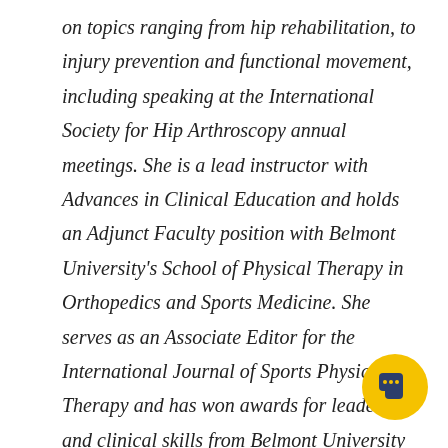on topics ranging from hip rehabilitation, to injury prevention and functional movement, including speaking at the International Society for Hip Arthroscopy annual meetings. She is a lead instructor with Advances in Clinical Education and holds an Adjunct Faculty position with Belmont University's School of Physical Therapy in Orthopedics and Sports Medicine. She serves as an Associate Editor for the International Journal of Sports Physical Therapy and has won awards for leadership and clinical skills from Belmont University and the APTA's Sports Physical Ther...
[Figure (other): Yellow circular chat button icon in the bottom right corner]